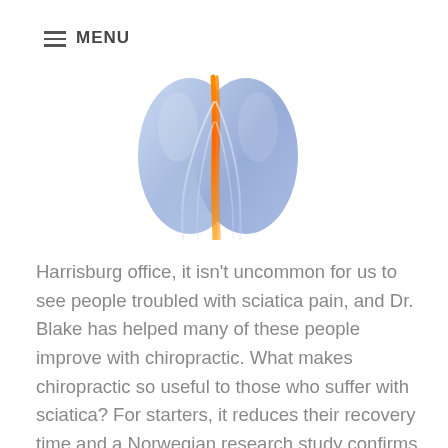≡ MENU
[Figure (illustration): Medical illustration showing the sciatic nerve running down the back of the legs, highlighted in orange against a blue anatomical background]
Harrisburg office, it isn't uncommon for us to see people troubled with sciatica pain, and Dr. Blake has helped many of these people improve with chiropractic. What makes chiropractic so useful to those who suffer with sciatica? For starters, it reduces their recovery time and a Norwegian research study confirms it.
In the study, which took place in a Norwegian hospital's orthopedic division, researchers looked at 44 patients who presented with sudden low back